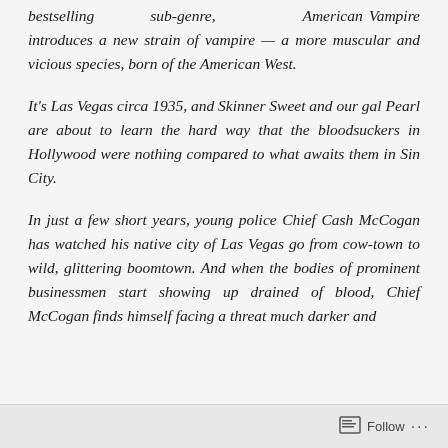bestselling sub-genre, American Vampire introduces a new strain of vampire — a more muscular and vicious species, born of the American West.
It's Las Vegas circa 1935, and Skinner Sweet and our gal Pearl are about to learn the hard way that the bloodsuckers in Hollywood were nothing compared to what awaits them in Sin City.
In just a few short years, young police Chief Cash McCogan has watched his native city of Las Vegas go from cow-town to wild, glittering boomtown. And when the bodies of prominent businessmen start showing up drained of blood, Chief McCogan finds himself facing a threat much darker and
Follow